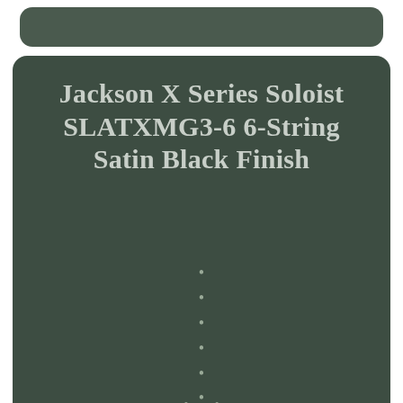Jackson X Series Soloist SLATXMG3-6 6-String Satin Black Finish
•
•
•
•
•
•
•
•
• •
One name is synonymous with the utmost in high-performance guitar designJackson, the progenitor of all musical speed machines. Conceived as a launching